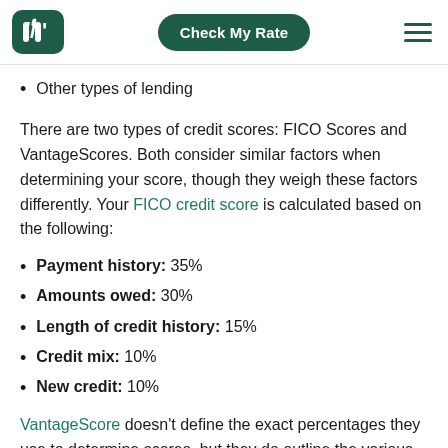Check My Rate [navigation header with logo and hamburger menu]
Other types of lending
There are two types of credit scores: FICO Scores and VantageScores. Both consider similar factors when determining your score, though they weigh these factors differently. Your FICO credit score is calculated based on the following:
Payment history: 35%
Amounts owed: 30%
Length of credit history: 15%
Credit mix: 10%
New credit: 10%
VantageScore doesn't define the exact percentages they use to determine scores, but they do outline the various factors they consider.